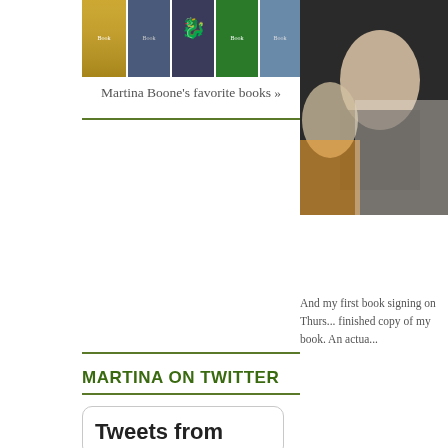[Figure (photo): Row of book covers - Martina Boone's favorite books]
Martina Boone's favorite books »
[Figure (photo): Photo of people at a book event, right side top]
And my first book signing on Thurs... finished copy of my book. An actua...
[Figure (photo): Photo of person speaking at book event, right side bottom]
MARTINA ON TWITTER
Tweets from